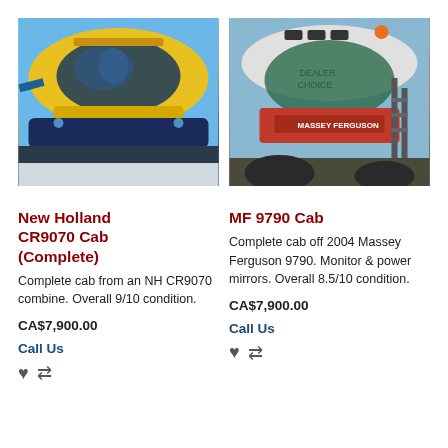[Figure (photo): New Holland CR9070 combine cab photo, close-up of yellow and blue combine harvester cab against blue sky]
[Figure (photo): Massey Ferguson 9790 combine cab photo, close-up of white and red combine harvester cab]
New Holland CR9070 Cab (Complete)
Complete cab from an NH CR9070 combine. Overall 9/10 condition.
CA$7,900.00
Call Us
MF 9790 Cab
Complete cab off 2004 Massey Ferguson 9790. Monitor & power mirrors. Overall 8.5/10 condition.
CA$7,900.00
Call Us